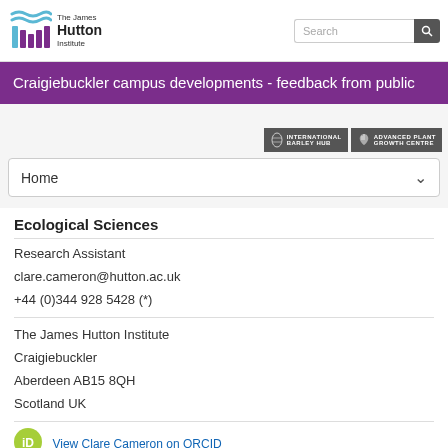[Figure (logo): The James Hutton Institute logo with stylized icon and text]
Craigiebuckler campus developments - feedback from public
[Figure (logo): International Barley Hub and Advanced Plant Growth Centre badges]
Home
Ecological Sciences
Research Assistant
clare.cameron@hutton.ac.uk
+44 (0)344 928 5428 (*)
The James Hutton Institute
Craigiebuckler
Aberdeen AB15 8QH
Scotland UK
[Figure (logo): ORCID iD green circle logo]
View Clare Cameron on ORCID